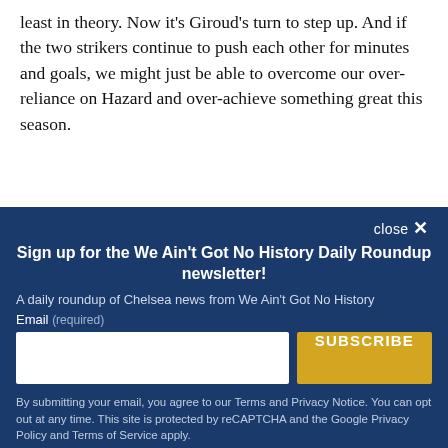least in theory. Now it's Giroud's turn to step up. And if the two strikers continue to push each other for minutes and goals, we might just be able to overcome our over-reliance on Hazard and over-achieve something great this season.
close ✕
Sign up for the We Ain't Got No History Daily Roundup newsletter!
A daily roundup of Chelsea news from We Ain't Got No History
Email (required)
SUBSCRIBE
By submitting your email, you agree to our Terms and Privacy Notice. You can opt out at any time. This site is protected by reCAPTCHA and the Google Privacy Policy and Terms of Service apply.